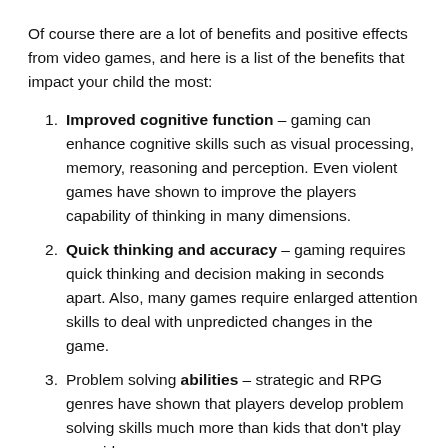Of course there are a lot of benefits and positive effects from video games, and here is a list of the benefits that impact your child the most:
Improved cognitive function – gaming can enhance cognitive skills such as visual processing, memory, reasoning and perception. Even violent games have shown to improve the players capability of thinking in many dimensions.
Quick thinking and accuracy – gaming requires quick thinking and decision making in seconds apart. Also, many games require enlarged attention skills to deal with unpredicted changes in the game.
Problem solving abilities – strategic and RPG genres have shown that players develop problem solving skills much more than kids that don't play any video games.